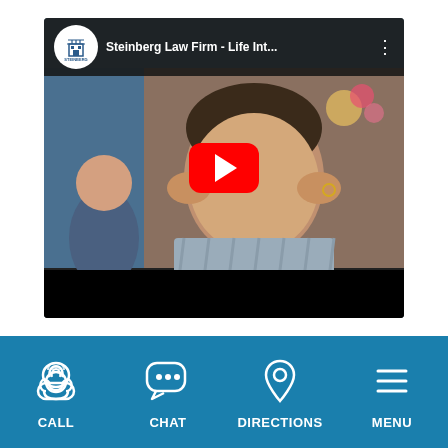[Figure (screenshot): YouTube video thumbnail for 'Steinberg Law Firm - Life Int...' showing a stressed man with hands on temples, a child in the background, with a red YouTube play button overlay. The video has a top bar with the Steinberg Law Firm logo and title, and a black bottom progress bar.]
[Figure (infographic): Mobile app bottom navigation bar with teal/blue background containing four navigation items: CALL (telephone icon), CHAT (speech bubble icon), DIRECTIONS (location pin icon), and MENU (hamburger menu icon), all in white.]